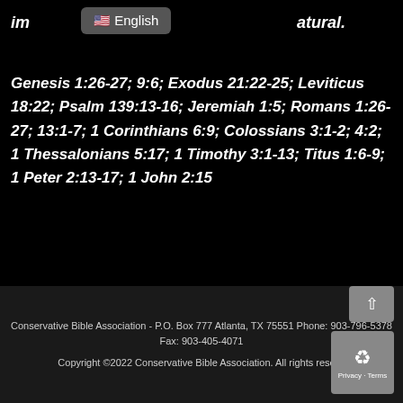im atural.
🇺🇸 English
Genesis 1:26-27; 9:6; Exodus 21:22-25; Leviticus 18:22; Psalm 139:13-16; Jeremiah 1:5; Romans 1:26-27; 13:1-7; 1 Corinthians 6:9; Colossians 3:1-2; 4:2; 1 Thessalonians 5:17; 1 Timothy 3:1-13; Titus 1:6-9; 1 Peter 2:13-17; 1 John 2:15
Conservative Bible Association - P.O. Box 777 Atlanta, TX 75551 Phone: 903-796-5378 Fax: 903-405-4071
Copyright ©2022 Conservative Bible Association. All rights reserved.